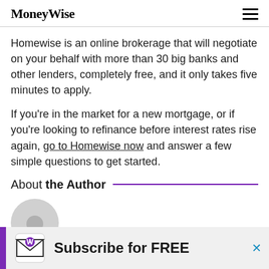MoneyWise
Homewise is an online brokerage that will negotiate on your behalf with more than 30 big banks and other lenders, completely free, and it only takes five minutes to apply.
If you're in the market for a new mortgage, or if you're looking to refinance before interest rates rise again, go to Homewise now and answer a few simple questions to get started.
About the Author
[Figure (photo): Circular author headshot photo, partially visible at the bottom of the page]
[Figure (infographic): Advertisement banner: MoneyWise envelope logo icon with text 'Subscribe for FREE', purple vertical bar on left, close X button on right]